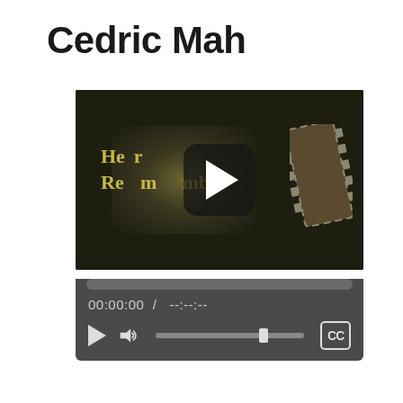Cedric Mah
[Figure (screenshot): Video player showing a video titled 'Heroes Remember' with a play button overlay on a dark thumbnail, and video player controls including a progress bar, time display showing 00:00:00 / --:--:--, play button, volume control, and CC button.]